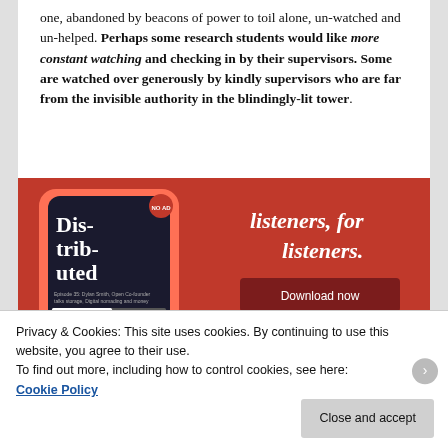one, abandoned by beacons of power to toil alone, un-watched and un-helped. Perhaps some research students would like more constant watching and checking in by their supervisors. Some are watched over generously by kindly supervisors who are far from the invisible authority in the blindingly-lit tower.
[Figure (photo): Advertisement banner with red background showing a smartphone displaying a podcast app called 'Distributed' with text 'listeners, for listeners.' and a 'Download now' button.]
Privacy & Cookies: This site uses cookies. By continuing to use this website, you agree to their use.
To find out more, including how to control cookies, see here: Cookie Policy